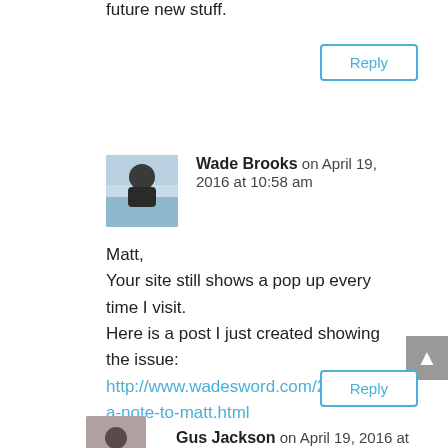future new stuff.
Reply
Wade Brooks on April 19, 2016 at 10:58 am
Matt,
Your site still shows a pop up every time I visit.
Here is a post I just created showing the issue:
http://www.wadesword.com/2016/04/a-note-to-matt.html
Reply
Gus Jackson on April 19, 2016 at 6:22 pm